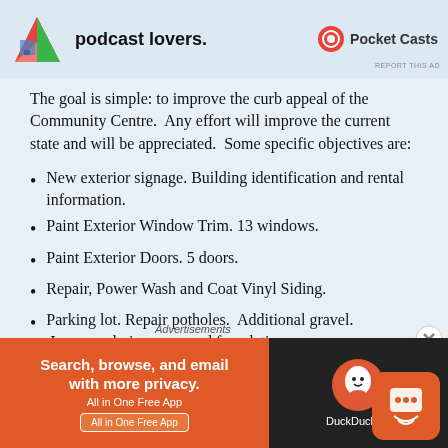[Figure (other): Top advertisement banner with colorful logo, text 'podcast lovers.' and Pocket Casts branding]
The goal is simple: to improve the curb appeal of the Community Centre.  Any effort will improve the current state and will be appreciated.  Some specific objectives are:
New exterior signage. Building identification and rental information.
Paint Exterior Window Trim. 13 windows.
Paint Exterior Doors. 5 doors.
Repair, Power Wash and Coat Vinyl Siding.
Parking lot. Repair potholes.  Additional gravel. Improve drainage around foundation.
Picnic Tables: 3-4
Exterior Garbage Can
[Figure (other): Bottom advertisement banner for DuckDuckGo — 'Search, browse, and email with more privacy. All in One Free App' on orange background with DuckDuckGo logo on black background]